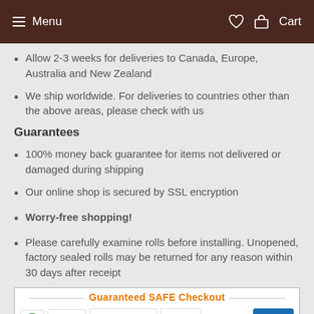Menu  Cart
Allow 2-3 weeks for deliveries to Canada, Europe, Australia and New Zealand
We ship worldwide. For deliveries to countries other than the above areas, please check with us
Guarantees
100% money back guarantee for items not delivered or damaged during shipping
Our online shop is secured by SSL encryption
Worry-free shopping!
Please carefully examine rolls before installing. Unopened, factory sealed rolls may be returned for any reason within 30 days after receipt
[Figure (infographic): Guaranteed SAFE Checkout badge with McAfee SECURE, PayPal Secure Payments, VISA, MasterCard, Maestro, American Express logos]